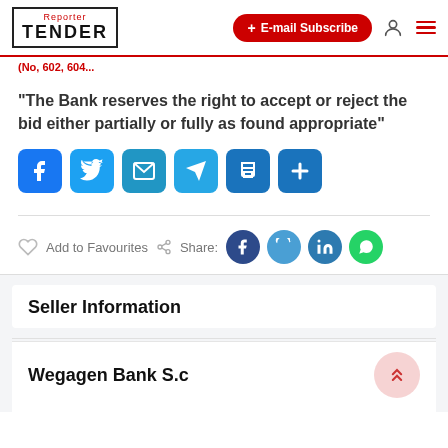Reporter TENDER | + E-mail Subscribe
(No, 602, 604...
“The Bank reserves the right to accept or reject the bid either partially or fully as found appropriate”
[Figure (infographic): Social share icons: Facebook, Twitter, Email, Telegram, Print, Plus buttons]
Add to Favourites   Share:
[Figure (infographic): Circle share icons: Facebook, Twitter, LinkedIn, WhatsApp]
Seller Information
Wegagen Bank S.c